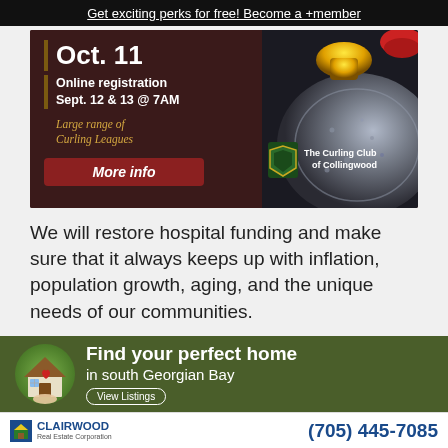Get exciting perks for free! Become a +member
[Figure (infographic): Advertisement for The Curling Club of Collingwood showing curling stones, text: Oct. 11, Online registration Sept. 12 & 13 @ 7AM, Large range of Curling Leagues, More info button]
We will restore hospital funding and make sure that it always keeps up with inflation, population growth, aging, and the unique needs of our communities.
We will prioritize badly needed hospital projects to ensure growing populations get the health care
[Figure (infographic): Clairwood Real Estate Corporation advertisement: Find your perfect home in south Georgian Bay. View Listings button. Phone: (705) 445-7085]